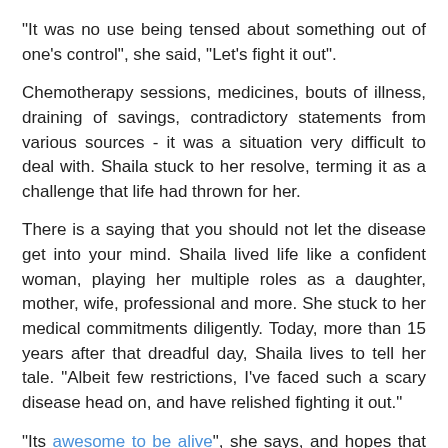"It was no use being tensed about something out of one's control", she said, "Let's fight it out".
Chemotherapy sessions, medicines, bouts of illness, draining of savings, contradictory statements from various sources - it was a situation very difficult to deal with. Shaila stuck to her resolve, terming it as a challenge that life had thrown for her.
There is a saying that you should not let the disease get into your mind. Shaila lived life like a confident woman, playing her multiple roles as a daughter, mother, wife, professional and more. She stuck to her medical commitments diligently. Today, more than 15 years after that dreadful day, Shaila lives to tell her tale. "Albeit few restrictions, I've faced such a scary disease head on, and have relished fighting it out."
"Its awesome to be alive", she says, and hopes that her story shall be a source of inspiration for all cancer patients.
Anupama K. Mazumder    8 comments: